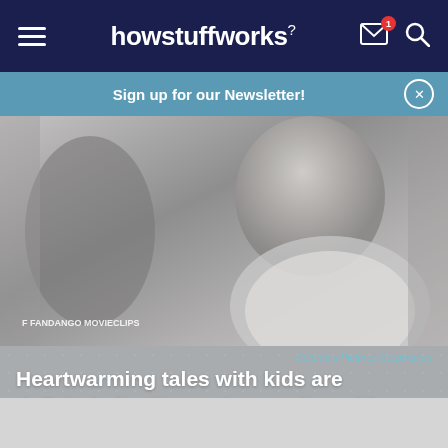howstuffworks
Sign up for our Newsletter!
[Figure (photo): Black and white or desaturated still from a movie showing a young child (boy) in a white shirt, facing slightly to the side, with another figure partially visible on the left. Fandango Movieclips watermark visible in lower left.]
Columbia Pictures Corporation
Heartwarming tales with kids are definitely family movies, such as this one. What’s the title?